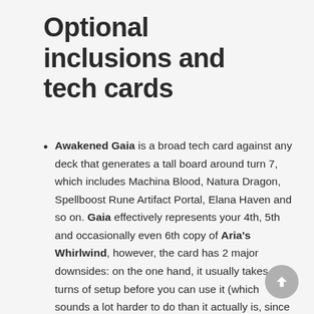Optional inclusions and tech cards
Awakened Gaia is a broad tech card against any deck that generates a tall board around turn 7, which includes Machina Blood, Natura Dragon, Spellboost Rune Artifact Portal, Elana Haven and so on. Gaia effectively represents your 4th, 5th and occasionally even 6th copy of Aria's Whirlwind, however, the card has 2 major downsides: on the one hand, it usually takes 3 turns of setup before you can use it (which sounds a lot harder to do than it actually is, since the